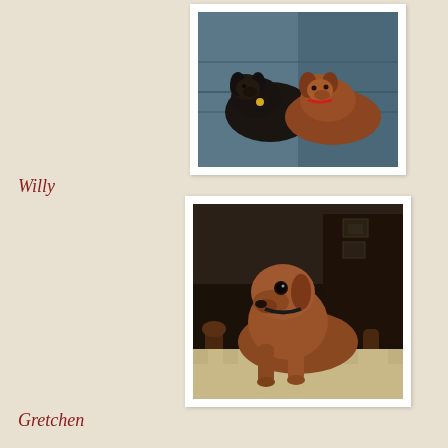[Figure (photo): Two dachshund dogs sitting together on a blue/teal couch. One is black and tan, the other is reddish-brown. The black one has a yellow tag and the brown one has a red collar.]
Willy
[Figure (photo): A reddish-brown dachshund dog standing on what appears to be a checkered ottoman or stool, with dark wooden furniture legs visible. The dog is looking at the camera.]
Gretchen